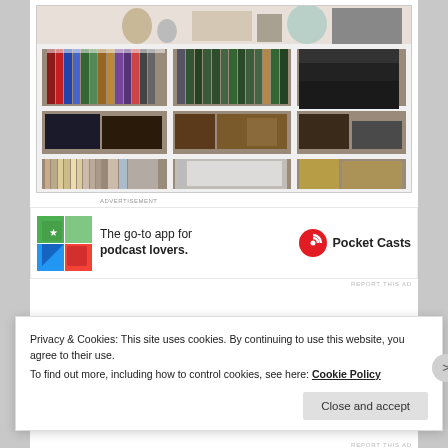[Figure (photo): Photo of a white bookshelf unit with multiple shelves containing binders, books, folders, and other items organized across three sections]
[Figure (screenshot): Advertisement banner for Pocket Casts app - 'The go-to app for podcast lovers.' with app icon on left and Pocket Casts logo on right]
Privacy & Cookies: This site uses cookies. By continuing to use this website, you agree to their use.
To find out more, including how to control cookies, see here: Cookie Policy
Close and accept